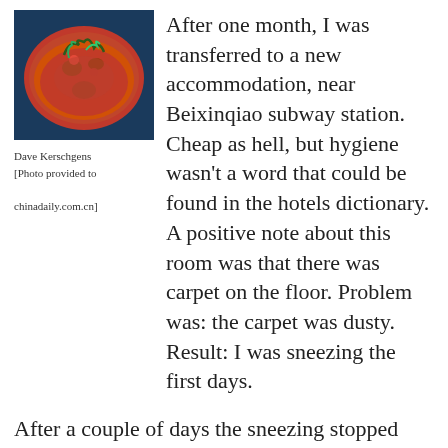[Figure (photo): A bowl of soup or stew with various toppings, photographed from above, with red/orange broth and garnishes.]
Dave Kerschgens [Photo provided to chinadaily.com.cn]
After one month, I was transferred to a new accommodation, near Beixinqiao subway station. Cheap as hell, but hygiene wasn't a word that could be found in the hotels dictionary. A positive note about this room was that there was carpet on the floor. Problem was: the carpet was dusty. Result: I was sneezing the first days.
After a couple of days the sneezing stopped and I got used to the room and started feeling comfortable.
But.... At night in the hotel - when the sun went down and the people outside started to play chess in the hutongs - room doors went open and whole families started to talk (read: scream) to each other and smoking in the hall way. The spectacle would